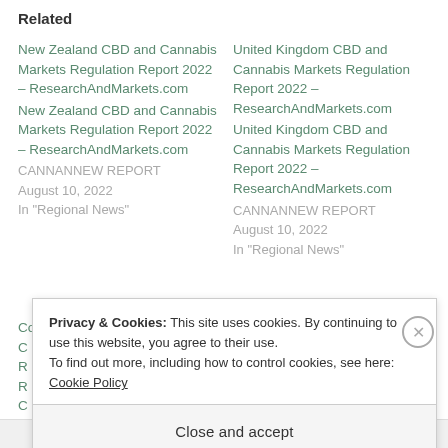Related
New Zealand CBD and Cannabis Markets Regulation Report 2022 – ResearchAndMarkets.com
New Zealand CBD and Cannabis Markets Regulation Report 2022 – ResearchAndMarkets.com
CANNANNEW REPORT
August 10, 2022
In "Regional News"
United Kingdom CBD and Cannabis Markets Regulation Report 2022 – ResearchAndMarkets.com
United Kingdom CBD and Cannabis Markets Regulation Report 2022 – ResearchAndMarkets.com
CANNANNEW REPORT
August 10, 2022
In "Regional News"
Colombia CBD and
Privacy & Cookies: This site uses cookies. By continuing to use this website, you agree to their use.
To find out more, including how to control cookies, see here: Cookie Policy
Close and accept